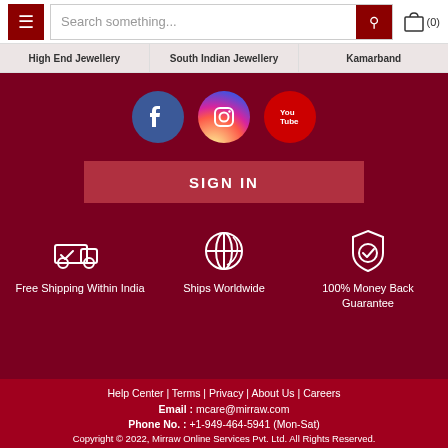Search something... (0)
High End Jewellery
South Indian Jewellery
Kamarband
[Figure (logo): Social media icons: Facebook (blue circle), Instagram (gradient circle), YouTube (red circle)]
SIGN IN
Free Shipping Within India
Ships Worldwide
100% Money Back Guarantee
Help Center | Terms | Privacy | About Us | Careers
Email : mcare@mirraw.com
Phone No. : +1-949-464-5941 (Mon-Sat)
Copyright © 2022, Mirraw Online Services Pvt. Ltd. All Rights Reserved.